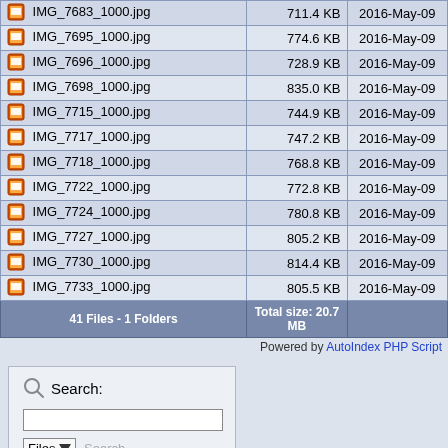| Filename | Size | Date |
| --- | --- | --- |
| IMG_7683_1000.jpg | 711.4 KB | 2016-May-09 |
| IMG_7695_1000.jpg | 774.6 KB | 2016-May-09 |
| IMG_7696_1000.jpg | 728.9 KB | 2016-May-09 |
| IMG_7698_1000.jpg | 835.0 KB | 2016-May-09 |
| IMG_7715_1000.jpg | 744.9 KB | 2016-May-09 |
| IMG_7717_1000.jpg | 747.2 KB | 2016-May-09 |
| IMG_7718_1000.jpg | 768.8 KB | 2016-May-09 |
| IMG_7722_1000.jpg | 772.8 KB | 2016-May-09 |
| IMG_7724_1000.jpg | 780.8 KB | 2016-May-09 |
| IMG_7727_1000.jpg | 805.2 KB | 2016-May-09 |
| IMG_7730_1000.jpg | 814.4 KB | 2016-May-09 |
| IMG_7733_1000.jpg | 805.5 KB | 2016-May-09 |
| 41 Files - 1 Folders | Total size: 20.7 MB |  |
Powered by AutoIndex PHP Script